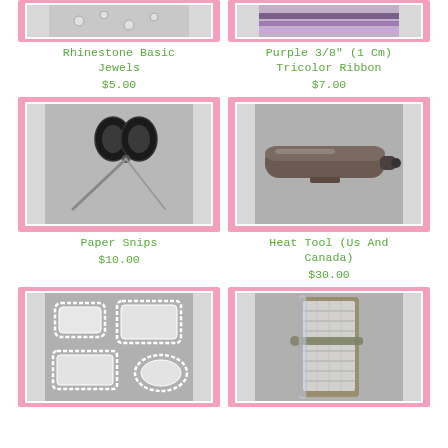[Figure (photo): Rhinestone Basic Jewels product image (partially cropped at top)]
Rhinestone Basic Jewels
$5.00
[Figure (photo): Purple 3/8" (1 Cm) Tricolor Ribbon product image (partially cropped at top)]
Purple 3/8" (1 Cm) Tricolor Ribbon
$7.00
[Figure (photo): Paper Snips (scissors) product image]
Paper Snips
$10.00
[Figure (photo): Heat Tool (Us And Canada) product image]
Heat Tool (Us And Canada)
$30.00
[Figure (photo): Label-shaped dies/framelits product image (partially cropped at bottom)]
[Figure (photo): Paper trimmer/cutter product image (partially cropped at bottom)]